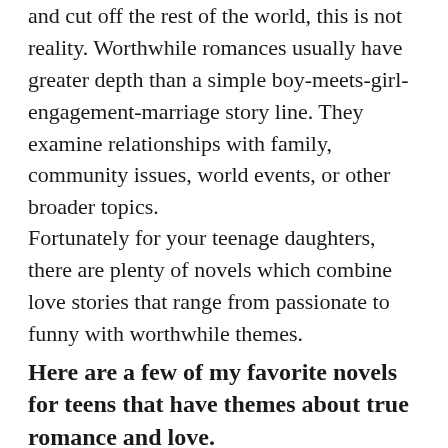and cut off the rest of the world, this is not reality. Worthwhile romances usually have greater depth than a simple boy-meets-girl-engagement-marriage story line. They examine relationships with family, community issues, world events, or other broader topics.
Fortunately for your teenage daughters, there are plenty of novels which combine love stories that range from passionate to funny with worthwhile themes.
Here are a few of my favorite novels for teens that have themes about true romance and love.